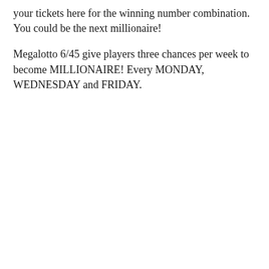your tickets here for the winning number combination. You could be the next millionaire!
Megalotto 6/45 give players three chances per week to become MILLIONAIRE! Every MONDAY, WEDNESDAY and FRIDAY.